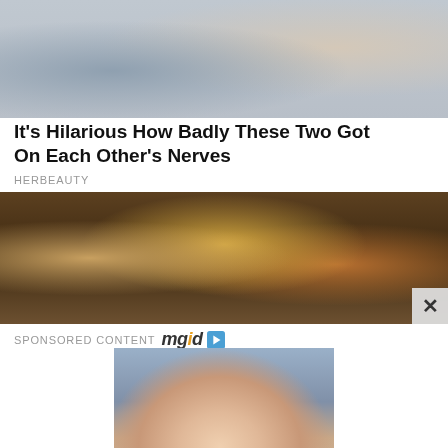[Figure (photo): Photo of two people, a man in grey shirt and a woman with blonde hair in white top]
It's Hilarious How Badly These Two Got On Each Other's Nerves
HERBEAUTY
[Figure (photo): Photo of golden animal figurines/masks with ornate decorations against a dark wooden background]
SPONSORED CONTENT mgid ▶
[Figure (photo): Close-up photo of a woman's face showing nose, lips and chin area with some skin blemishes]
Confession: I've Been Using A Face Mask Every Day. Have A Look